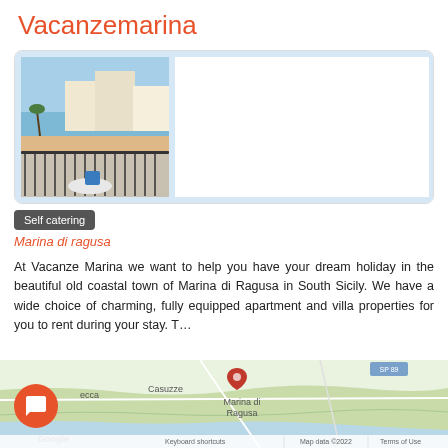Vacanzemarina
[Figure (photo): Balcony view of Marina di Ragusa coastal town with palm trees, beach, and sea in background. White buildings and black wrought iron railing visible.]
Self catering
Marina di ragusa
At Vacanze Marina we want to help you have your dream holiday in the beautiful old coastal town of Marina di Ragusa in South Sicily. We have a wide choice of charming, fully equipped apartment and villa properties for you to rent during your stay. T...
[Figure (map): Google Maps showing Marina di Ragusa location with red pin marker. Labels visible: ecca, Casuzze, Marina di Ragusa. Google logo and Map data ©2022, Terms of Use, Keyboard shortcuts shown at bottom.]